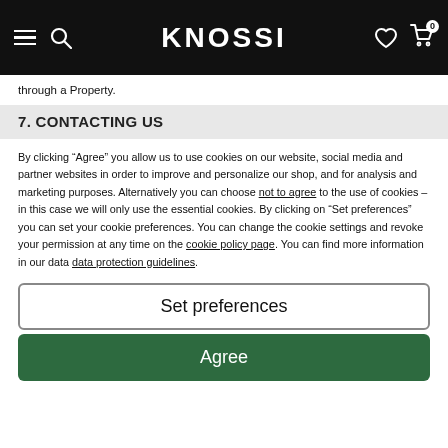KNOSSI
through a Property.
7. CONTACTING US
By clicking “Agree” you allow us to use cookies on our website, social media and partner websites in order to improve and personalize our shop, and for analysis and marketing purposes. Alternatively you can choose not to agree to the use of cookies – in this case we will only use the essential cookies. By clicking on “Set preferences” you can set your cookie preferences. You can change the cookie settings and revoke your permission at any time on the cookie policy page. You can find more information in our data data protection guidelines.
Set preferences
Agree